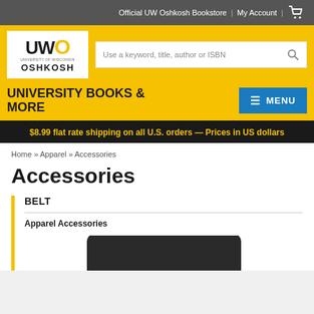Official UW Oshkosh Bookstore | My Account |
[Figure (logo): UW Oshkosh University logo with text UNIVERSITY OF WISCONSIN OSHKOSH]
Use a keyword, title, author or ISBN
UNIVERSITY BOOKS & MORE
≡ MENU
$8.99 flat rate shipping on all U.S. orders — Prices in US dollars
Home » Apparel » Accessories
Accessories
BELT
Apparel Accessories
[Figure (photo): Partial view of a black belt product image]